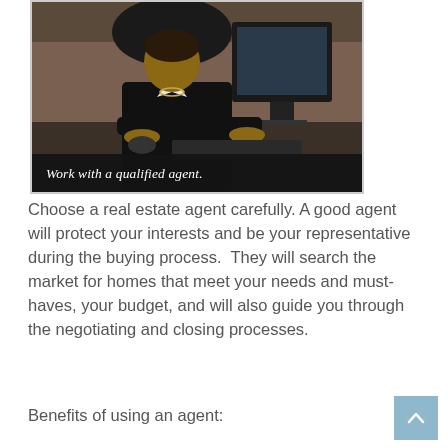[Figure (photo): A professional woman in a black business suit sitting at a desk working at a computer. The image has a dark banner at the bottom with italic text reading 'Work with a qualified agent.']
Choose a real estate agent carefully. A good agent will protect your interests and be your representative during the buying process.  They will search the market for homes that meet your needs and must-haves, your budget, and will also guide you through the negotiating and closing processes.
Benefits of using an agent: